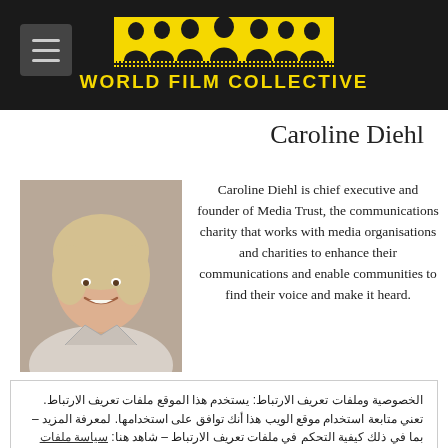World Film Collective
Caroline Diehl
[Figure (photo): Headshot photo of Caroline Diehl, a woman with short wavy blonde hair, smiling, wearing a light-coloured jacket]
Caroline Diehl is chief executive and founder of Media Trust, the communications charity that works with media organisations and charities to enhance their communications and enable communities to find their voice and make it heard.
الخصوصية وملفات تعريف الارتباط: يستخدم هذا الموقع ملفات تعريف الارتباط. تعني متابعة استخدام موقع الويب هذا أنك توافق على استخدامها. لمعرفة المزيد – بما في ذلك كيفية التحكم في ملفات تعريف الارتباط – شاهد هنا: سياسة ملفات تعريف الارتباط
إغلاق وقبول
Programme